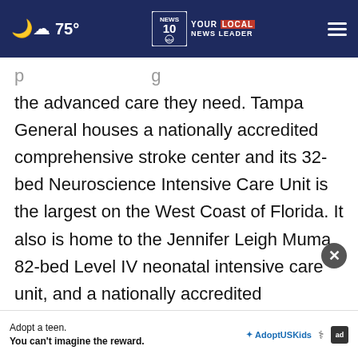75° NEWS 10 YOUR LOCAL NEWS LEADER
the advanced care they need. Tampa General houses a nationally accredited comprehensive stroke center and its 32-bed Neuroscience Intensive Care Unit is the largest on the West Coast of Florida. It also is home to the Jennifer Leigh Muma 82-bed Level IV neonatal intensive care unit, and a nationally accredited rehabilitation center. Tampa General Hospital's footprint includes 17 Tampa General Medical Group... Center Kennedy, TGH Brandon Healthplex, TGH
Adopt a teen. You can't imagine the reward.